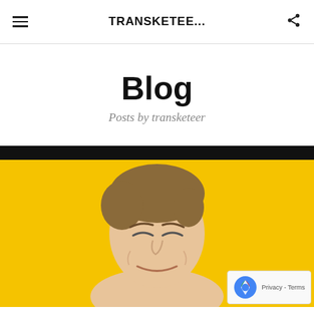TRANSKETEE...
Blog
Posts by transketeer
[Figure (photo): Young man with eyes closed, making a squinting/grimacing expression, against a bright yellow background with a black bar at the top. A reCAPTCHA badge appears in the bottom-right corner with 'Privacy - Terms' text.]